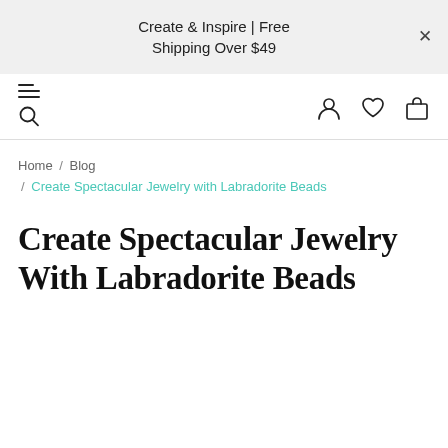Create & Inspire | Free Shipping Over $49
Home / Blog / Create Spectacular Jewelry with Labradorite Beads
Create Spectacular Jewelry With Labradorite Beads